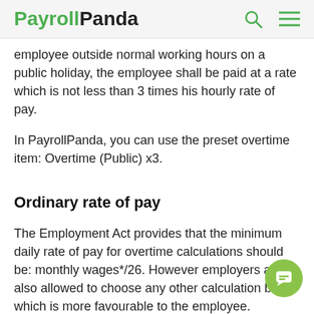PayrollPanda
employee outside normal working hours on a public holiday, the employee shall be paid at a rate which is not less than 3 times his hourly rate of pay.
In PayrollPanda, you can use the preset overtime item: Overtime (Public) x3.
Ordinary rate of pay
The Employment Act provides that the minimum daily rate of pay for overtime calculations should be: monthly wages*/26. However employers are also allowed to choose any other calculation basis which is more favourable to the employee.